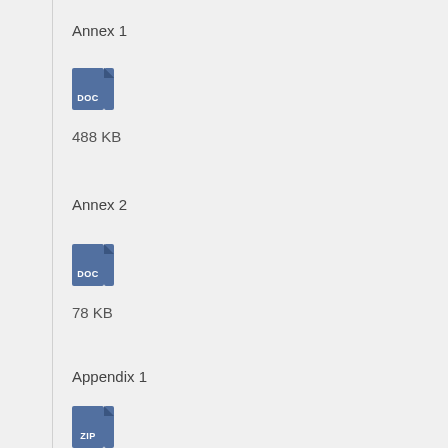Annex 1
[Figure (other): DOC file icon, blue/slate color with folded corner]
488 KB
Annex 2
[Figure (other): DOC file icon, blue/slate color with folded corner]
78 KB
Appendix 1
[Figure (other): ZIP file icon, blue/slate color with folded corner]